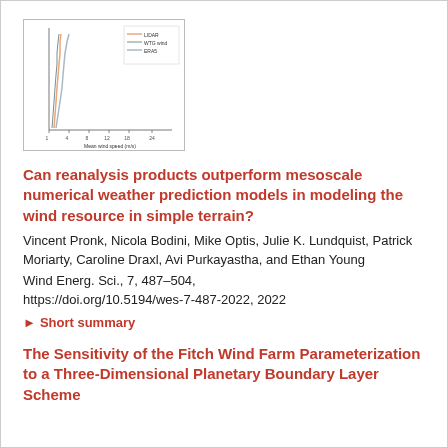[Figure (continuous-plot): Small thumbnail chart showing wind speed profiles (mean wind speed on x-axis, height on y-axis) with multiple colored lines and a legend indicating LIDAR, WTG wind, and ERAS.]
Can reanalysis products outperform mesoscale numerical weather prediction models in modeling the wind resource in simple terrain?
Vincent Pronk, Nicola Bodini, Mike Optis, Julie K. Lundquist, Patrick Moriarty, Caroline Draxl, Avi Purkayastha, and Ethan Young
Wind Energ. Sci., 7, 487–504, https://doi.org/10.5194/wes-7-487-2022, 2022
▶ Short summary
The Sensitivity of the Fitch Wind Farm Parameterization to a Three-Dimensional Planetary Boundary Layer Scheme